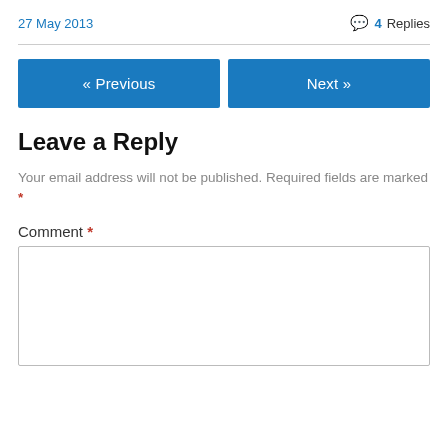27 May 2013   4 Replies
« Previous   Next »
Leave a Reply
Your email address will not be published. Required fields are marked *
Comment *